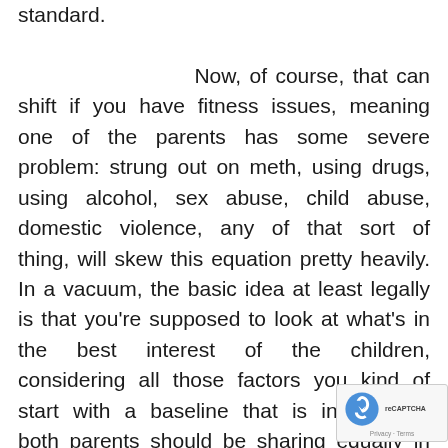standard. Now, of course, that can shift if you have fitness issues, meaning one of the parents has some severe problem: strung out on meth, using drugs, using alcohol, sex abuse, child abuse, domestic violence, any of that sort of thing, will skew this equation pretty heavily. In a vacuum, the basic idea at least legally is that you're supposed to look at what's in the best interest of the children, considering all those factors you kind of start with a baseline that is in essence both parents should be sharing equally in time with the kid.